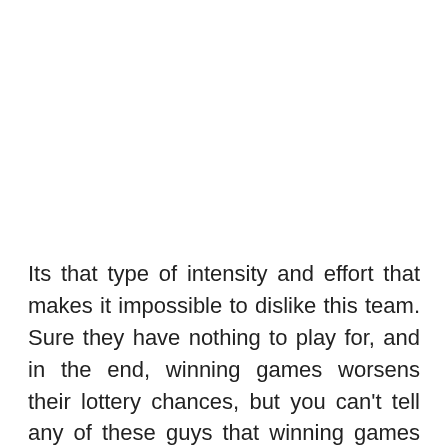Its that type of intensity and effort that makes it impossible to dislike this team. Sure they have nothing to play for, and in the end, winning games worsens their lottery chances, but you can't tell any of these guys that winning games like this doesn't matter. After the game Kevin Durant commented that it was like a playoff atmosphere out there tonight, and I feel the same way. For this to feel like a playoff game and have this team respond the way they did, you have to be